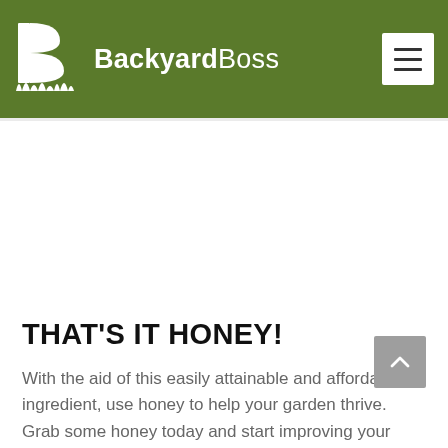BackyardBoss
THAT'S IT HONEY!
With the aid of this easily attainable and affordable ingredient, use honey to help your garden thrive. Grab some honey today and start improving your plant's